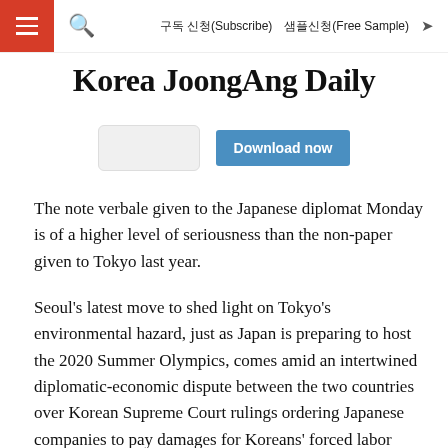≡  🔍  구독 신청(Subscribe)  샘플신청(Free Sample)  ➤
Korea JoongAng Daily
[Figure (other): Download now button with app icon placeholder]
The note verbale given to the Japanese diplomat Monday is of a higher level of seriousness than the non-paper given to Tokyo last year.
Seoul's latest move to shed light on Tokyo's environmental hazard, just as Japan is preparing to host the 2020 Summer Olympics, comes amid an intertwined diplomatic-economic dispute between the two countries over Korean Supreme Court rulings ordering Japanese companies to pay damages for Koreans' forced labor during World War II.
Officially though, the Foreign Ministry says the Fukushima issues